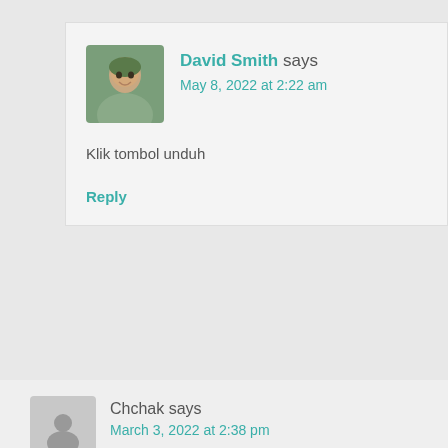David Smith says
May 8, 2022 at 2:22 am
Klik tombol unduh
Reply
Chchak says
March 3, 2022 at 2:38 pm